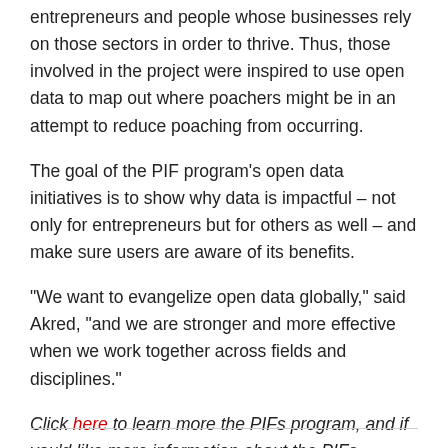entrepreneurs and people whose businesses rely on those sectors in order to thrive. Thus, those involved in the project were inspired to use open data to map out where poachers might be in an attempt to reduce poaching from occurring.
The goal of the PIF program’s open data initiatives is to show why data is impactful – not only for entrepreneurs but for others as well – and make sure users are aware of its benefits.
“We want to evangelize open data globally,” said Akred, “and we are stronger and more effective when we work together across fields and disciplines.”
Click here to learn more the PIFs program, and if you’d like more information about the PIFs program and future rounds, feel free to send your inquiries here.
Follow @WhiteHouseOSTP to get the latest news and updates.